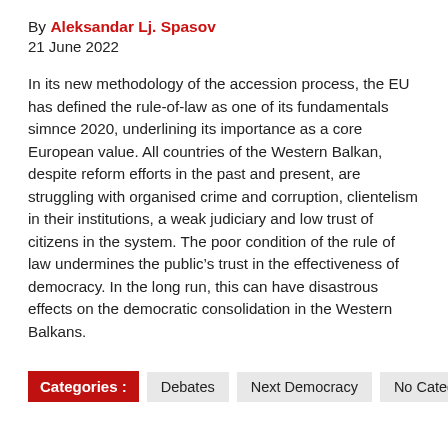By Aleksandar Lj. Spasov
21 June 2022
In its new methodology of the accession process, the EU has defined the rule-of-law as one of its fundamentals simnce 2020, underlining its importance as a core European value. All countries of the Western Balkan, despite reform efforts in the past and present, are struggling with organised crime and corruption, clientelism in their institutions, a weak judiciary and low trust of citizens in the system. The poor condition of the rule of law undermines the public's trust in the effectiveness of democracy. In the long run, this can have disastrous effects on the democratic consolidation in the Western Balkans.
Categories: Debates | Next Democracy | No Category